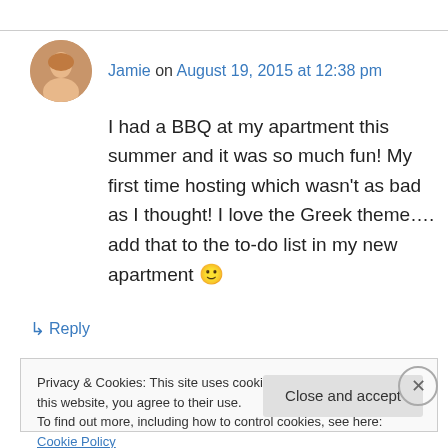Jamie on August 19, 2015 at 12:38 pm
I had a BBQ at my apartment this summer and it was so much fun! My first time hosting which wasn't as bad as I thought! I love the Greek theme…. add that to the to-do list in my new apartment 🙂
↳ Reply
Privacy & Cookies: This site uses cookies. By continuing to use this website, you agree to their use.
To find out more, including how to control cookies, see here: Cookie Policy